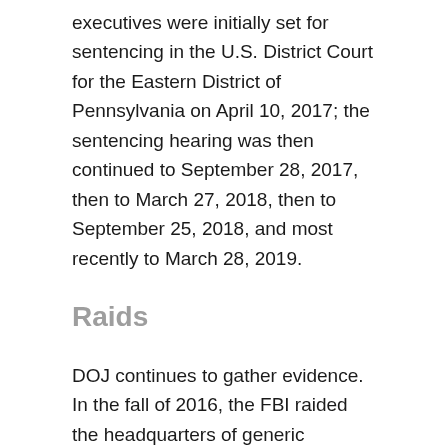executives were initially set for sentencing in the U.S. District Court for the Eastern District of Pennsylvania on April 10, 2017; the sentencing hearing was then continued to September 28, 2017, then to March 27, 2018, then to September 25, 2018, and most recently to March 28, 2019.
Raids
DOJ continues to gather evidence. In the fall of 2016, the FBI raided the headquarters of generic pharmaceutical manufacturer Mylan Pharmaceutical in Pennsylvania. The raid was strategically conducted while the CEO of Mylan was otherwise engaged in Washington to testify